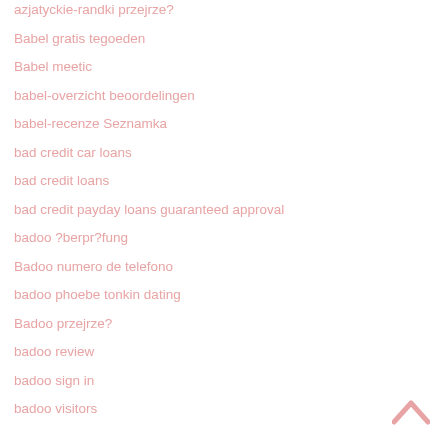azjatyckie-randki przejrze?
Babel gratis tegoeden
Babel meetic
babel-overzicht beoordelingen
babel-recenze Seznamka
bad credit car loans
bad credit loans
bad credit payday loans guaranteed approval
badoo ?berpr?fung
Badoo numero de telefono
badoo phoebe tonkin dating
Badoo przejrze?
badoo review
badoo sign in
badoo visitors
[Figure (other): Up arrow / back-to-top chevron icon in pink/salmon color at bottom right]